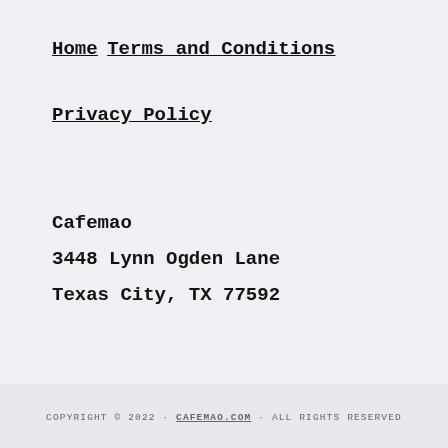Home
Terms and Conditions
Privacy Policy
Cafemao
3448 Lynn Ogden Lane
Texas City, TX 77592
COPYRIGHT © 2022 · CAFEMAO.COM · ALL RIGHTS RESERVED